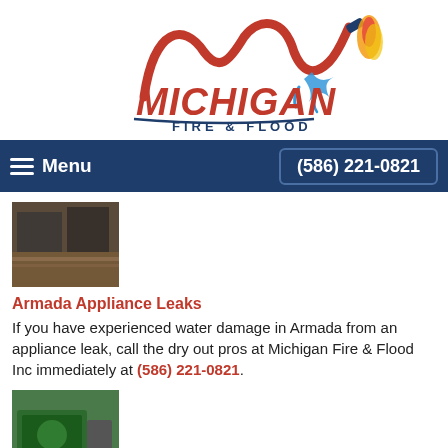[Figure (logo): Michigan Fire & Flood logo with fire hose forming M shape, flame and water splash graphic]
≡ Menu   (586) 221-0821
[Figure (photo): Small thumbnail photo of water damaged floor/appliance area]
Armada Appliance Leaks
If you have experienced water damage in Armada from an appliance leak, call the dry out pros at Michigan Fire & Flood Inc immediately at (586) 221-0821.
[Figure (photo): Small thumbnail photo of green restoration equipment/truck outdoors]
Armada Sewage Cleanup
Restoration specialist, Michigan Fire & Flood Inc, has